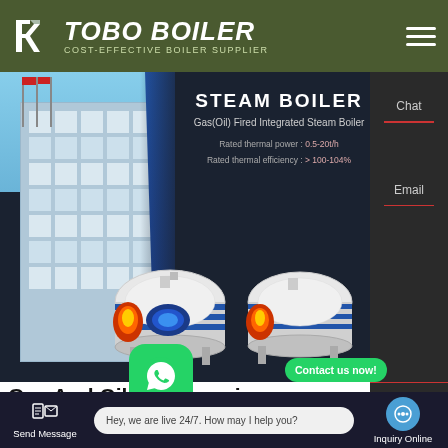[Figure (screenshot): Tobo Boiler website screenshot showing header with logo, hero banner with steam boiler product information, boiler images, sidebar with Chat/Email/Contact options, WhatsApp floating buttons, and bottom navigation bar with Send Message and Inquiry Online options.]
TOBO BOILER
COST-EFFECTIVE BOILER SUPPLIER
STEAM BOILER
Gas(Oil) Fired Integrated Steam Boiler
Rated thermal power : 0.5-20t/h
Rated thermal efficiency : > 100-104%
Chat
Email
Gas And Oil Firedmercial Boilers
Natural
Contact us now!
Contact
Contact us now!
Hey, we are live 24/7. How may I help you?
Send Message
Inquiry Online